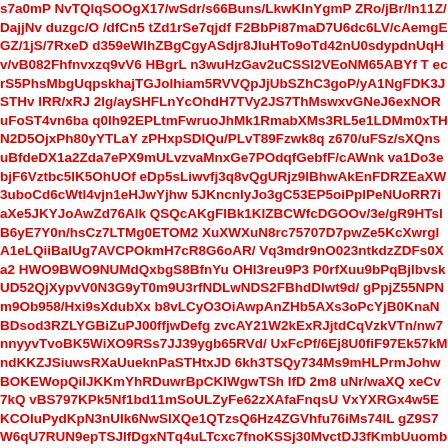s7a0mP NvTQlqSOOgX17/wSdr/s66Buns/LkwKInYgmP ZRo/jBr/ln11Z/DajjNv duzgc/O /dfCn5 tZd1rSe7qjdf F2BbPi87maD7U6dc6LV/cAemgEGZ/1jS/7RxeD d359eWlhZBgCgyASdjr8JluHTo9oTd42nU0sdypdnUqHv/vB082Fhfnvxzq9vV6 HBgrL n3wuHzGav2uCSSl2VEoNM65ABYf T ecrS5PhsMbgUqpskhajTGJolhiam5RVVQpJjUbSZhC3goP/yA1NgFDK3JSTHv IRR/xRJ 2lg/aySHFLnYcOhdH7TVy2JS7ThMswxvGNeJ6exNORuFoST4vn6ba q0lh92EPLtmFwruoJhMk1RmabXMs3RL5e1LDMm0xTHN2D5OjxPh80yYTLaY zPHxpSDIQu/PLvT89Fzwk8q z670/uFSz/sXQnsuBfdeDX1a2Zda7ePX9mULvzvaMnxGe7POdqfGebfF/cAWnk va1Do3ebjF6Vztbc5lK5OhUOf eDp5sLiwvfj3q8vQgURjz9lBhwAkEnFDRZEaXW3uboCd6cWtl4vjn1eHJwYjhw 5JKncnlyJo3gC53EP5oiPplPeNUoRR7iaXe5JKYJoAwZd76Alk QSQcAKgFIBk1KIZBCWfcDGOOv/3e/gR9HTslB6yE7Y0n/hsCz7LTMg0ETOM2 XuXWXuN8rc75707D7pwZe5KcXwrglA1eLQiiBalUg7AVCPOkmH7cR8G6oAR/ Vq3mdr9nO023ntkdzZDFs0Xa2 HWO9BWO9NUMdQxbgS8BfnYu OHI3reu9P3 P0rfXuu9bPqBjlbvskUD52QjXypvV0N3G9yT0m9U3rfNDLwNDS2FBhdDlwt9d/ gPpjZ55NPNm9Ob958/Hxi9sXdubXx b8vLCyO3OiAwpAnZHb5AXs3oPcYjB0KnaNBDsod3RZLYGBiZuPJ00ffjwDefg zvcAY21W2kExRJjtdCqVzkVTn/nw7nnyyvTvoBK5WiXO9RSs7JJ39ygb65RVd/ UxFcPf/6Ej8U0fiF97Ek57kMndKKZJSiuwsRXaUueknPaSTHtxJD 6kh3TSQy734Ms9mHLPrmJohwBOKEWopQiIJKKmYhRDuwrBpCKIWgwTSh lfD 2m8 uNr/waXQ xeCv7kQ vBS797KPk5Nf1bd11mSoULZyFe62zXAfaFnqsU VxYXRGx4w5EKCOluPydKpN3nUlk6NwSlXQe1QTzsQ6Hz4ZGVhfu76iMs74lL gZ9S7W6qU7RUN9epTSJlfDgxNTq4uLTcxc7fnoKSSj30MvctDJ3fKmbUuomb9 qovfXF/wfVfZ/erX/o8vhDy GPrwY/vhy775rfZya/ozawRzpcHHr6Bnd7Trgntj9sL Lo4t0XEudGxnvukBsKWm09dnOHUQsr8 1dlWnb1eDrSj0/D7T0bn7b0fld2EP6Bq